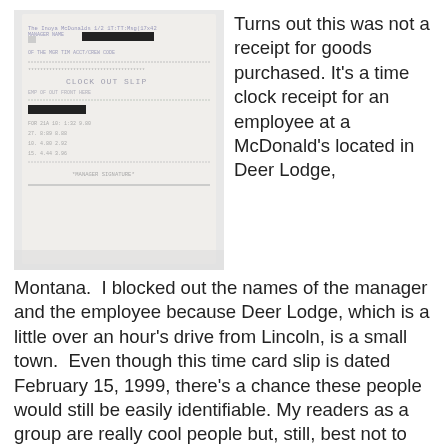[Figure (photo): A photograph of a McDonald's employee time clock slip/receipt, partially blurred, with redacted (blacked out) names of the manager and employee. The receipt shows 'CLOCK OUT SLIP' text and various time/date entries.]
Turns out this was not a receipt for goods purchased. It's a time clock receipt for an employee at a McDonald's located in Deer Lodge, Montana.  I blocked out the names of the manager and the employee because Deer Lodge, which is a little over an hour's drive from Lincoln, is a small town.  Even though this time card slip is dated February 15, 1999, there's a chance these people would still be easily identifiable. My readers as a group are really cool people but, still, best not to drag anyone into my site or the topic of Ted Kaczynski unless I know